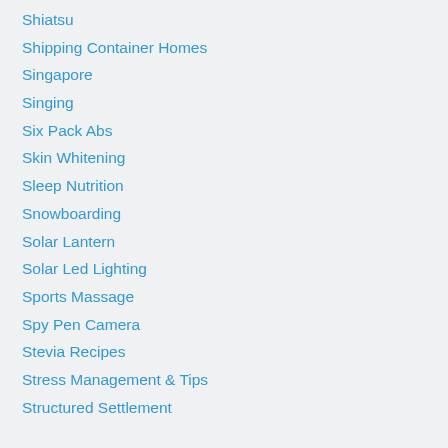Shiatsu
Shipping Container Homes
Singapore
Singing
Six Pack Abs
Skin Whitening
Sleep Nutrition
Snowboarding
Solar Lantern
Solar Led Lighting
Sports Massage
Spy Pen Camera
Stevia Recipes
Stress Management & Tips
Structured Settlement